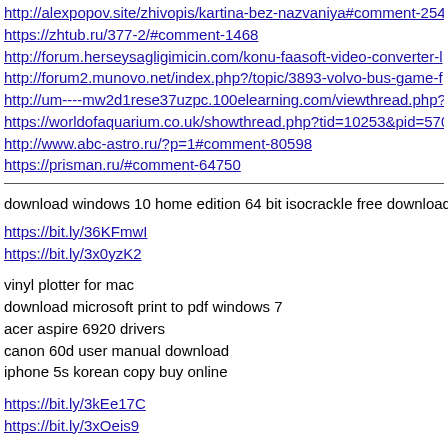http://alexpopov.site/zhivopis/kartina-bez-nazvaniya#comment-2540
https://zhtub.ru/377-2/#comment-1468
http://forum.herseysagligimicin.com/konu-faasoft-video-converter-...
http://forum2.munovo.net/index.php?/topic/3893-volvo-bus-game-f...
http://um----mw2d1rese37uzpc.100elearning.com/viewthread.php?t...
https://worldofaquarium.co.uk/showthread.php?tid=10253&pid=570
http://www.abc-astro.ru/?p=1#comment-80598
https://prisman.ru/#comment-64750
download windows 10 home edition 64 bit isocrackle free download
https://bit.ly/36KFmwI
https://bit.ly/3x0yzK2
vinyl plotter for mac
download microsoft print to pdf windows 7
acer aspire 6920 drivers
canon 60d user manual download
iphone 5s korean copy buy online
https://bit.ly/3kEe17C
https://bit.ly/3xOeis9
download windows 10 on laptop
iis 7 free download for windows 10 64 bit
windows 10 won't update 2019 free download